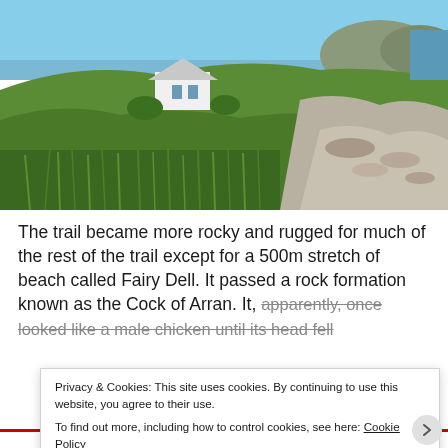[Figure (photo): Scenic landscape photo showing a white cottage on a green hillside with rocky shore, tall grass, and blue sky. Isle of Arran coastal scenery.]
The trail became more rocky and rugged for much of the rest of the trail except for a 500m stretch of beach called Fairy Dell. It passed a rock formation known as the Cock of Arran. It, apparently, once looked like a male chicken until its head fell o...
Privacy & Cookies: This site uses cookies. By continuing to use this website, you agree to their use.
To find out more, including how to control cookies, see here: Cookie Policy